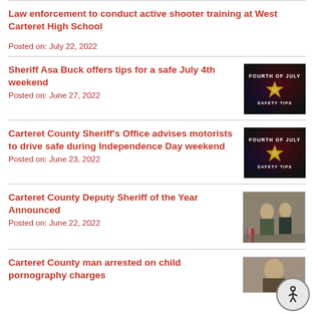Law enforcement to conduct active shooter training at West Carteret High School
Posted on: July 22, 2022
Sheriff Asa Buck offers tips for a safe July 4th weekend
Posted on: June 27, 2022
[Figure (photo): Fourth of July Safety Tips graphic with fireworks and sheriff badge]
Carteret County Sheriff's Office advises motorists to drive safe during Independence Day weekend
Posted on: June 23, 2022
[Figure (photo): Fourth of July Safety Tips graphic with fireworks and sheriff badge]
Carteret County Deputy Sheriff of the Year Announced
Posted on: June 22, 2022
[Figure (photo): Photo of two men standing together, one in uniform, with US flag in background]
Carteret County man arrested on child pornography charges